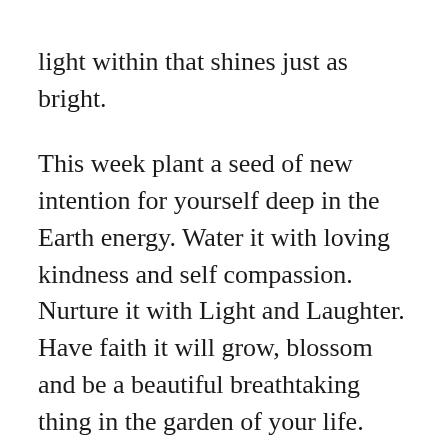light within that shines just as bright.

This week plant a seed of new intention for yourself deep in the Earth energy. Water it with loving kindness and self compassion. Nurture it with Light and Laughter. Have faith it will grow, blossom and be a beautiful breathtaking thing in the garden of your life. Practice earth energy this week by affirming your root chakra. I am grounded. I am centered. I am full of abundance. I am safe. I am protected. I am well. Practice Walking Meditation outside